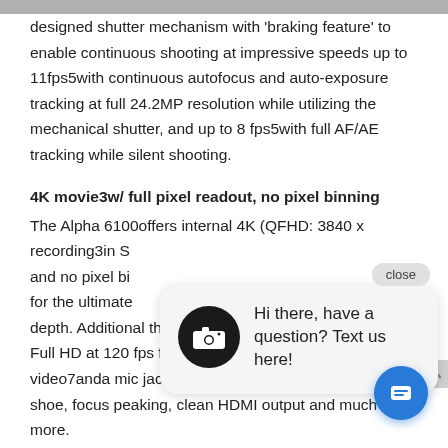designed shutter mechanism with 'braking feature' to enable continuous shooting at impressive speeds up to 11fps5with continuous autofocus and auto-exposure tracking at full 24.2MP resolution while utilizing the mechanical shutter, and up to 8 fps5with full AF/AE tracking while silent shooting.
4K movie3w/ full pixel readout, no pixel binning
The Alpha 6100offers internal 4K (QFHD: 3840 x recording3in S and no pixel bi for the ultimate depth. Additional the Alpha 6100 has the ability to record Full HD at 120 fps for up to 5x slow motion HD video7anda mic jackwithXLR compatibility via the shoe, focus peaking, clean HDMI output and much more.
[Figure (screenshot): Chat popup overlay with camera icon, close button, and text 'Hi there, have a question? Text us here!', plus a blue circular chat FAB button.]